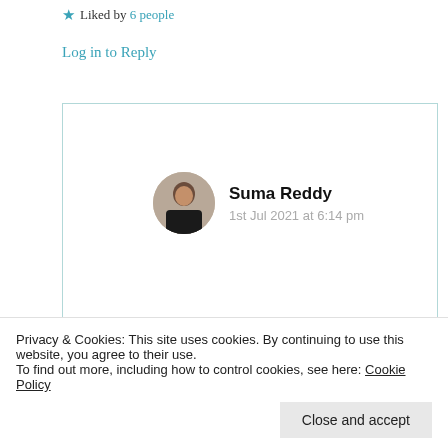★ Liked by 6 people
Log in to Reply
Suma Reddy
1st Jul 2021 at 6:14 pm
Oh! My sweetest as I was reading your mind, in reverse you awaited until I rectified my disabled comment
Privacy & Cookies: This site uses cookies. By continuing to use this website, you agree to their use.
To find out more, including how to control cookies, see here: Cookie Policy
Close and accept
gratitude for your precious priceless